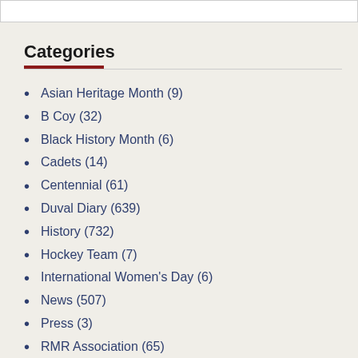Search...
Categories
Asian Heritage Month (9)
B Coy (32)
Black History Month (6)
Cadets (14)
Centennial (61)
Duval Diary (639)
History (732)
Hockey Team (7)
International Women's Day (6)
News (507)
Press (3)
RMR Association (65)
RMR Museum (31)
This Day in RMR History (382)